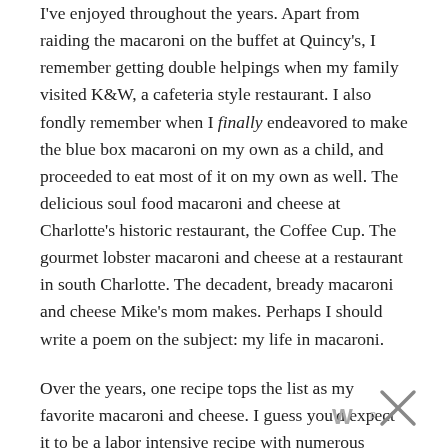I've enjoyed throughout the years. Apart from raiding the macaroni on the buffet at Quincy's, I remember getting double helpings when my family visited K&W, a cafeteria style restaurant. I also fondly remember when I finally endeavored to make the blue box macaroni on my own as a child, and proceeded to eat most of it on my own as well. The delicious soul food macaroni and cheese at Charlotte's historic restaurant, the Coffee Cup. The gourmet lobster macaroni and cheese at a restaurant in south Charlotte. The decadent, bready macaroni and cheese Mike's mom makes. Perhaps I should write a poem on the subject: my life in macaroni.
Over the years, one recipe tops the list as my favorite macaroni and cheese. I guess you'd expect it to be a labor intensive recipe with numerous cheeses and a mile-long list of ingredients. But you know what's funny? Sometimes the simplest things really are the best. This Oven Baked Macaroni and Cheese (with optional sausage) takes al...